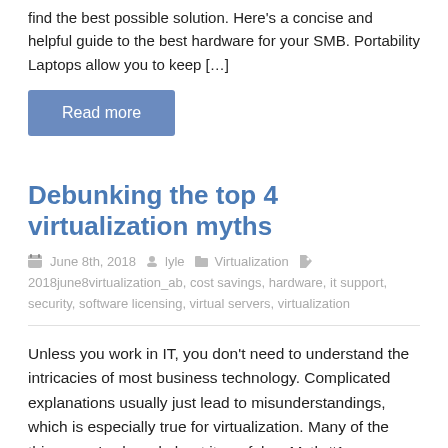find the best possible solution. Here's a concise and helpful guide to the best hardware for your SMB. Portability Laptops allow you to keep […]
Read more
Debunking the top 4 virtualization myths
June 8th, 2018   lyle   Virtualization   2018june8virtualization_ab, cost savings, hardware, it support, security, software licensing, virtual servers, virtualization
Unless you work in IT, you don't need to understand the intricacies of most business technology. Complicated explanations usually just lead to misunderstandings, which is especially true for virtualization. Many of the things you've heard about it are false. Myth #1 – Virtualization is too expensive for SMBs Many people assume that the more advanced […]